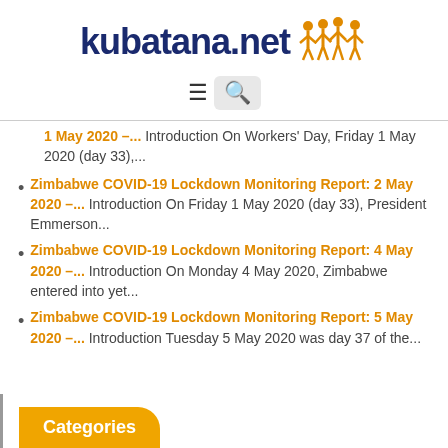[Figure (logo): kubatana.net logo with orange figures holding hands icon]
1 May 2020 –... Introduction On Workers' Day, Friday 1 May 2020 (day 33),...
Zimbabwe COVID-19 Lockdown Monitoring Report: 2 May 2020 –... Introduction On Friday 1 May 2020 (day 33), President Emmerson...
Zimbabwe COVID-19 Lockdown Monitoring Report: 4 May 2020 –... Introduction On Monday 4 May 2020, Zimbabwe entered into yet...
Zimbabwe COVID-19 Lockdown Monitoring Report: 5 May 2020 –... Introduction Tuesday 5 May 2020 was day 37 of the...
Categories